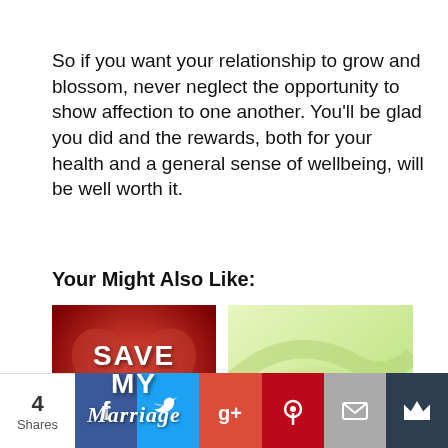So if you want your relationship to grow and blossom, never neglect the opportunity to show affection to one another. You'll be glad you did and the rewards, both for your health and a general sense of wellbeing, will be well worth it.
Your Might Also Like:
[Figure (photo): Red heart background image with white bold text reading SAVE MY and italic text reading Marriage]
[Figure (photo): Light green/yellow gradient image, partially visible]
4 Shares | Facebook | Twitter | Google+ | Pinterest | Email | Crown